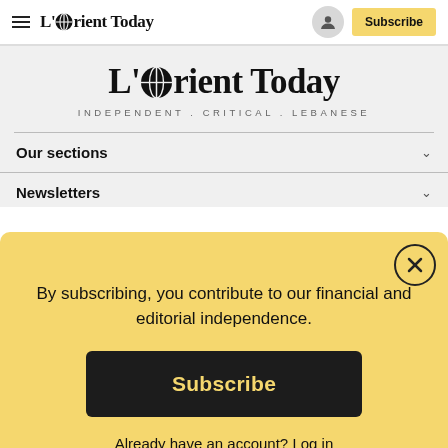L'Orient Today — Subscribe button — navigation bar
[Figure (logo): L'Orient Today logo with globe-O in header]
L'Orient Today
INDEPENDENT . CRITICAL . LEBANESE
Our sections
Newsletters
By subscribing, you contribute to our financial and editorial independence.
Subscribe
Already have an account? Log in